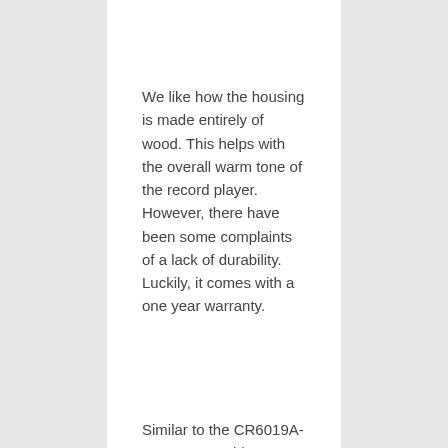We like how the housing is made entirely of wood. This helps with the overall warm tone of the record player. However, there have been some complaints of a lack of durability. Luckily, it comes with a one year warranty.
Similar to the CR6019A-BK, you are able to convert your vinyls to digital. This is a great feature for anyone